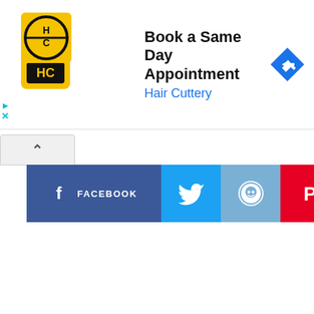[Figure (screenshot): Advertisement banner for Hair Cuttery - Book a Same Day Appointment. Shows HC logo, text, navigation icon, and ad controls.]
[Figure (screenshot): Social media share buttons row: Facebook, Twitter, Reddit, Pinterest, Mix, Email]